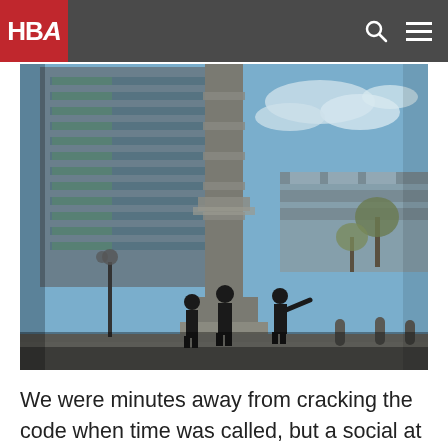HBA
[Figure (photo): Outdoor urban scene showing three people standing at the base of a tall decorative column/monument in a public plaza, with a large modern glass office building in the background and blue sky with clouds. Trees and other urban structures visible in the background.]
We were minutes away from cracking the code when time was called, but a social at the Tap Room removed the sting